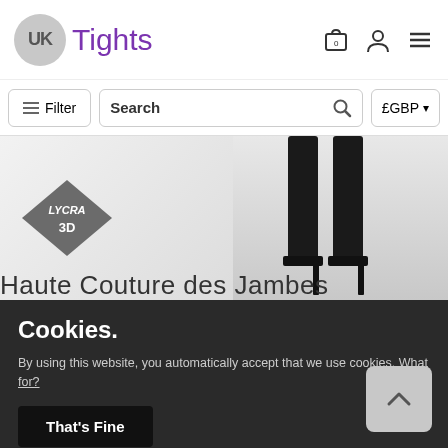UK Tights
≡ Filter | Search | £GBP ▾
[Figure (photo): Product image showing legs wearing dark tights with high heel shoes; Lycra 3D logo badge visible on left side. Text at bottom reads 'Haute Couture des Jambes']
Cookies.
By using this website, you automatically accept that we use cookies. What for?
That's Fine